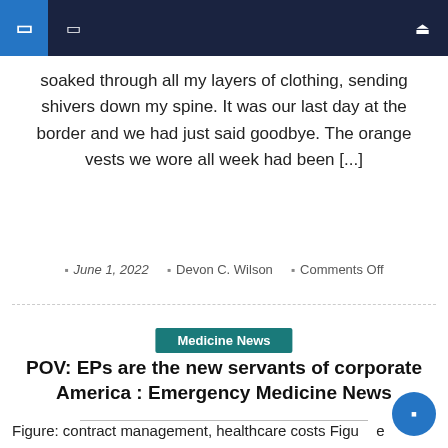Navigation bar with icons and search
soaked through all my layers of clothing, sending shivers down my spine. It was our last day at the border and we had just said goodbye. The orange vests we wore all week had been [...]
June 1, 2022   Devon C. Wilson   Comments Off
Medicine News
POV: EPs are the new servants of corporate America : Emergency Medicine News
Figure: contract management, healthcare costs Figure COVID-19 outbreak has thrust emergency physicians in the media spotlight, showing them saving countless lives from a